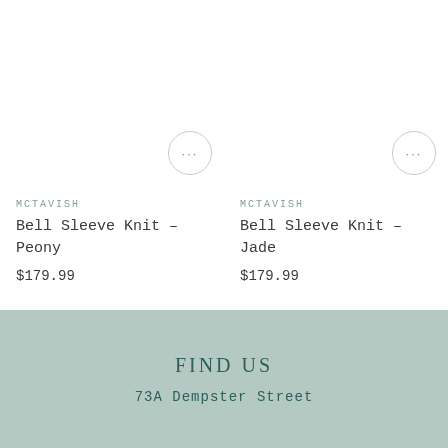MCTAVISH
Bell Sleeve Knit – Peony
$179.99
MCTAVISH
Bell Sleeve Knit – Jade
$179.99
FIND US
73A Dempster Street